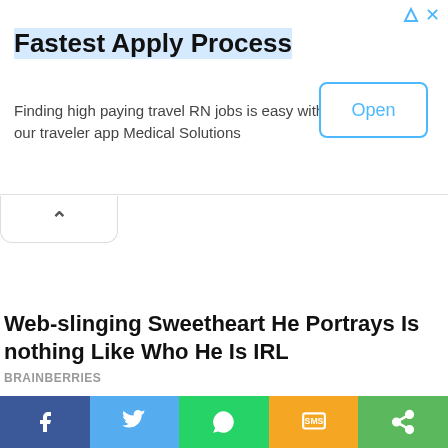[Figure (screenshot): Advertisement banner: Fastest Apply Process — Finding high paying travel RN jobs is easy with our traveler app Medical Solutions. Open button on right.]
Web-slinging Sweetheart He Portrays Is nothing Like Who He Is IRL
BRAINBERRIES
[Figure (photo): Pink fluffy background with hands showing decorated nails with rhinestones]
[Figure (infographic): Social share bar with Facebook, Twitter, WhatsApp, SMS, and Share buttons]